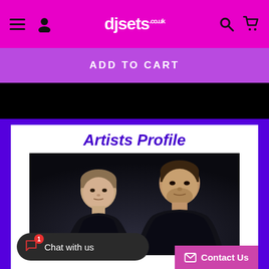djsets.co.uk
ADD TO CART
Artists Profile
[Figure (photo): Two men facing camera in dark studio portrait photo — the artists profile image]
Chat with us
Contact Us